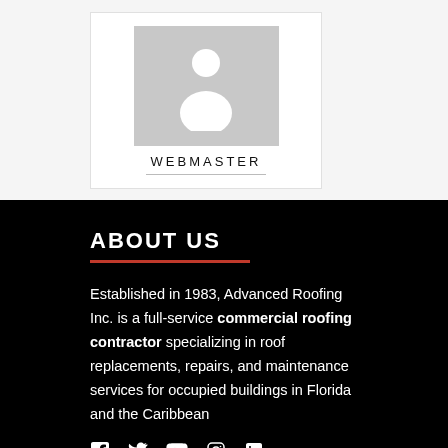[Figure (illustration): Placeholder profile image card with a generic person silhouette icon and the label WEBMASTER below it, on a light gray background]
ABOUT US
Established in 1983, Advanced Roofing Inc. is a full-service commercial roofing contractor specializing in roof replacements, repairs, and maintenance services for occupied buildings in Florida and the Caribbean